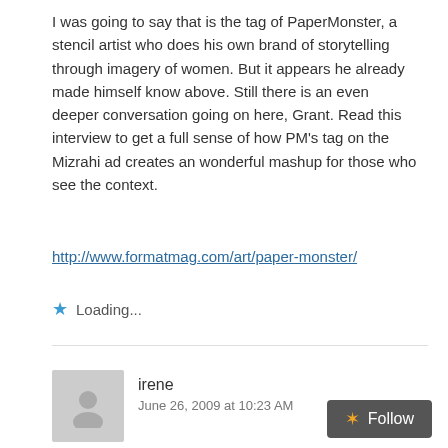I was going to say that is the tag of PaperMonster, a stencil artist who does his own brand of storytelling through imagery of women. But it appears he already made himself know above. Still there is an even deeper conversation going on here, Grant. Read this interview to get a full sense of how PM's tag on the Mizrahi ad creates an wonderful mashup for those who see the context.
http://www.formatmag.com/art/paper-monster/
Loading...
irene
June 26, 2009 at 10:23 AM